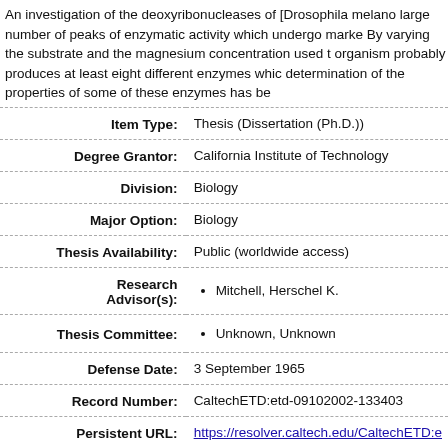An investigation of the deoxyribonucleases of [Drosophila melano... large number of peaks of enzymatic activity which undergo marke... By varying the substrate and the magnesium concentration used t... organism probably produces at least eight different enzymes whic... determination of the properties of some of these enzymes has be...
| Field | Value |
| --- | --- |
| Item Type: | Thesis (Dissertation (Ph.D.)) |
| Degree Grantor: | California Institute of Technology |
| Division: | Biology |
| Major Option: | Biology |
| Thesis Availability: | Public (worldwide access) |
| Research Advisor(s): | Mitchell, Herschel K. |
| Thesis Committee: | Unknown, Unknown |
| Defense Date: | 3 September 1965 |
| Record Number: | CaltechETD:etd-09102002-133403 |
| Persistent URL: | https://resolver.caltech.edu/CaltechETD:e... |
| DOI: | 10.7907/4ZS0-CV69 |
| Default Usage Policy: | No commercial reproduction, distribution, provided |